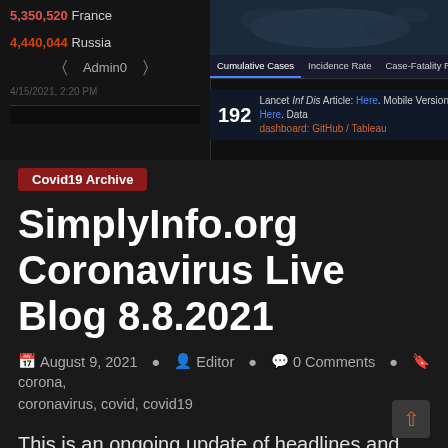[Figure (screenshot): Screenshot of a COVID-19 tracking dashboard showing country statistics (France: 5,350,520; Russia: 4,440,044) and tabs for Cumulative Cases, Incidence Rate, Case-Fatality Ratio, Testing Rate, with 192 countries shown and a Lancet Inf Dis Article reference]
Covid19 Archive
SimplyInfo.org Coronavirus Live Blog 8.8.2021
August 9, 2021   Editor   0 Comments   corona, coronavirus, covid, covid19
This is an ongoing update of headlines and information related to the coronavirus outbreak. Newest information at the top. If you have a question or want to discuss this issue in depth, we have been discussing this issue in our chat system. Information is updated throughout the